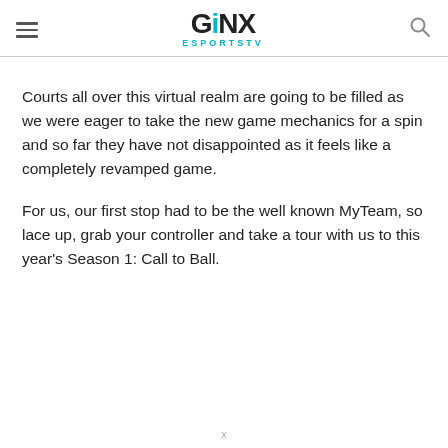GINX ESPORTS TV
Courts all over this virtual realm are going to be filled as we were eager to take the new game mechanics for a spin and so far they have not disappointed as it feels like a completely revamped game.
For us, our first stop had to be the well known MyTeam, so lace up, grab your controller and take a tour with us to this year's Season 1: Call to Ball.